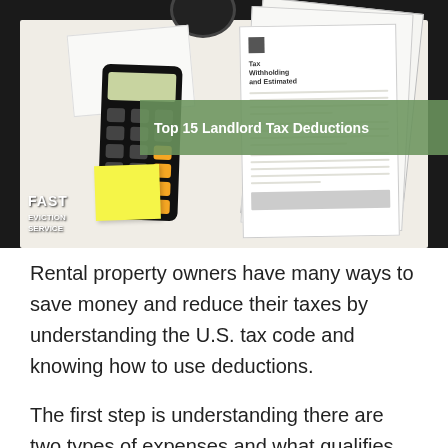[Figure (photo): Photo of a desk with tax forms, a smartphone calculator, a sticky note, and a coffee cup on a dark background. A green semi-transparent banner overlays the image with the text 'Top 15 Landlord Tax Deductions'. A 'Fast Eviction Service' logo appears in the bottom-left corner of the image.]
Rental property owners have many ways to save money and reduce their taxes by understanding the U.S. tax code and knowing how to use deductions.
The first step is understanding there are two types of expenses and what qualifies as an